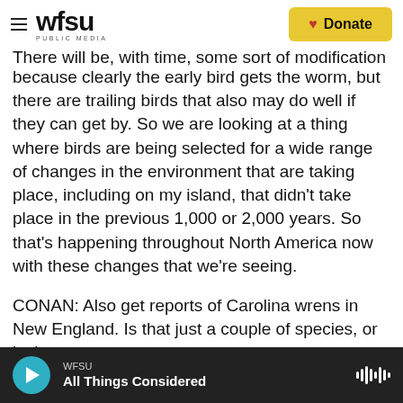WFSU PUBLIC MEDIA | Donate
There will be, with time, some sort of modification because clearly the early bird gets the worm, but there are trailing birds that also may do well if they can get by. So we are looking at a thing where birds are being selected for a wide range of changes in the environment that are taking place, including on my island, that didn't take place in the previous 1,000 or 2,000 years. So that's happening throughout North America now with these changes that we're seeing.
CONAN: Also get reports of Carolina wrens in New England. Is that just a couple of species, or is that
WFSU | All Things Considered